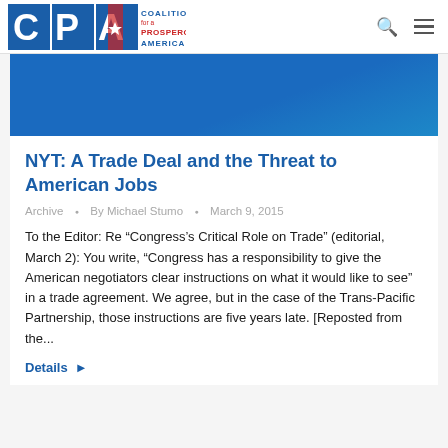Coalition for a Prosperous America
[Figure (illustration): Blue banner image at top of article]
NYT: A Trade Deal and the Threat to American Jobs
Archive • By Michael Stumo • March 9, 2015
To the Editor: Re “Congress’s Critical Role on Trade” (editorial, March 2): You write, “Congress has a responsibility to give the American negotiators clear instructions on what it would like to see” in a trade agreement. We agree, but in the case of the Trans-Pacific Partnership, those instructions are five years late. [Reposted from the...
Details ►